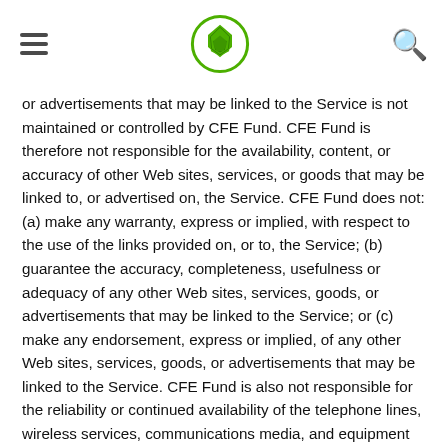CFE Fund navigation header with logo
or advertisements that may be linked to the Service is not maintained or controlled by CFE Fund. CFE Fund is therefore not responsible for the availability, content, or accuracy of other Web sites, services, or goods that may be linked to, or advertised on, the Service. CFE Fund does not: (a) make any warranty, express or implied, with respect to the use of the links provided on, or to, the Service; (b) guarantee the accuracy, completeness, usefulness or adequacy of any other Web sites, services, goods, or advertisements that may be linked to the Service; or (c) make any endorsement, express or implied, of any other Web sites, services, goods, or advertisements that may be linked to the Service. CFE Fund is also not responsible for the reliability or continued availability of the telephone lines, wireless services, communications media, and equipment you use to access the Service. You understand that CFE